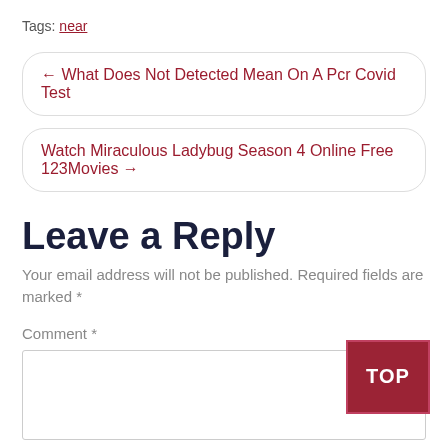Tags: near
← What Does Not Detected Mean On A Pcr Covid Test
Watch Miraculous Ladybug Season 4 Online Free 123Movies →
Leave a Reply
Your email address will not be published. Required fields are marked *
Comment *